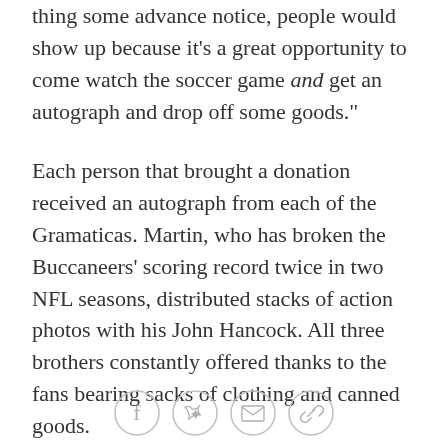thing some advance notice, people would show up because it's a great opportunity to come watch the soccer game and get an autograph and drop off some goods."
Each person that brought a donation received an autograph from each of the Gramaticas. Martin, who has broken the Buccaneers' scoring record twice in two NFL seasons, distributed stacks of action photos with his John Hancock. All three brothers constantly offered thanks to the fans bearing sacks of clothing and canned goods.
All three Gramaticas were thrilled at the large turnout at their tent, as well as the rapidly filling containers of goods.
"We hoped to get as much clothing and goods as we
[Figure (other): Social media sharing icons: Facebook, Twitter, Email, Link]